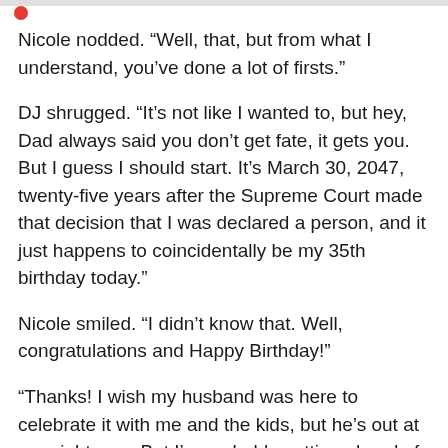Nicole nodded. “Well, that, but from what I understand, you’ve done a lot of firsts.”
DJ shrugged. “It’s not like I wanted to, but hey, Dad always said you don’t get fate, it gets you. But I guess I should start. It’s March 30, 2047, twenty-five years after the Supreme Court made that decision that I was declared a person, and it just happens to coincidentally be my 35th birthday today.”
Nicole smiled. “I didn’t know that. Well, congratulations and Happy Birthday!”
“Thanks! I wish my husband was here to celebrate it with me and the kids, but he’s out at sea right now. But I’m probably getting ahead of myself, right? Let me start again.” She bowed her head and murmured